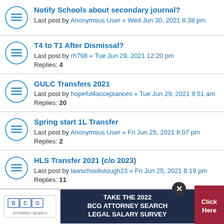Notify Schools about secondary journal?
Last post by Anonymous User « Wed Jun 30, 2021 8:38 pm
T4 to T1 After Dismissal?
Last post by rh798 « Tue Jun 29, 2021 12:20 pm
Replies: 4
GULC Transfers 2021
Last post by hopeful4acceptances « Tue Jun 29, 2021 9:51 am
Replies: 20
Spring start 1L Transfer
Last post by Anonymous User « Fri Jun 25, 2021 8:07 pm
Replies: 2
HLS Transfer 2021 (c/o 2023)
Last post by lawschoolistough23 « Fri Jun 25, 2021 6:19 pm
Replies: 11
[Figure (infographic): BCG Attorney Search ad banner: logo on left, dark navy center with 'TAKE THE 2022 BCG ATTORNEY SEARCH LEGAL SALARY SURVEY', red 'Click Here' button on right, with close (X) button overlay]